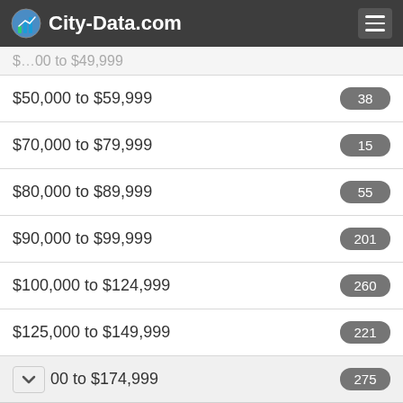City-Data.com
| Income Range | Count |
| --- | --- |
| $50,000 to $59,999 | 38 |
| $70,000 to $79,999 | 15 |
| $80,000 to $89,999 | 55 |
| $90,000 to $99,999 | 201 |
| $100,000 to $124,999 | 260 |
| $125,000 to $149,999 | 221 |
| [partial] 00 to $174,999 | 275 |
Open A Gold IRA — Being Diversified Among Stocks, Bonds, Cash, and Precious Metals Is a Sound Strategy. Orion Metal Exchange